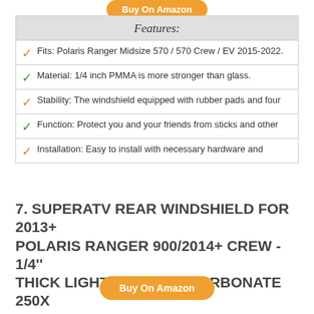[Figure (other): Orange 'Buy On Amazon' button at top (partially visible)]
| Features: |
| --- |
| ✓ Fits: Polaris Ranger Midsize 570 / 570 Crew / EV 2015-2022. |
| ✓ Material: 1/4 inch PMMA is more stronger than glass. |
| ✓ Stability: The windshield equipped with rubber pads and four |
| ✓ Function: Protect you and your friends from sticks and other |
| ✓ Installation: Easy to install with necessary hardware and |
7. SUPERATV REAR WINDSHIELD FOR 2013+ POLARIS RANGER 900/2014+ CREW - 1/4'' THICK LIGHT TINT POLYCARBONATE 250X STRONGER THAN GLASS AND 25X STRONGER THAN ACRYLIC - USA MADE
[Figure (other): Orange 'Buy On Amazon' button at bottom]